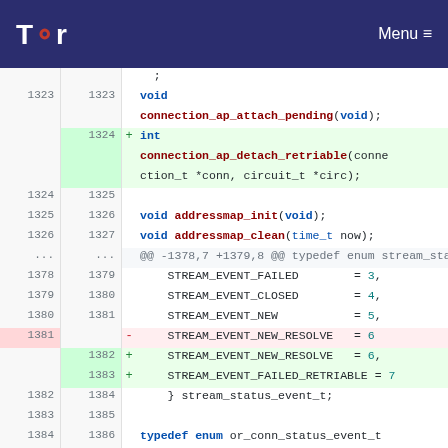Tor | Menu
[Figure (screenshot): Code diff view showing changes to Tor source code. Lines 1323-1386, showing addition of connection_ap_detach_retriable function and STREAM_EVENT_FAILED_RETRIABLE enum value.]